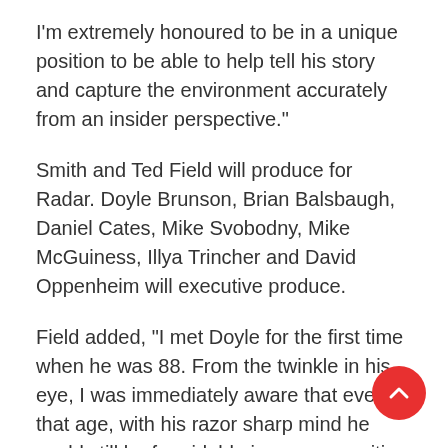I'm extremely honoured to be in a unique position to be able to help tell his story and capture the environment accurately from an insider perspective."
Smith and Ted Field will produce for Radar. Doyle Brunson, Brian Balsbaugh, Daniel Cates, Mike Svobodny, Mike McGuiness, Illya Trincher and David Oppenheim will executive produce.
Field added, “I met Doyle for the first time when he was 88. From the twinkle in his eye, I was immediately aware that even at that age, with his razor sharp mind he could still be formidable in any proposition he might undertake. If Doyle wants to bet with you, look out. His improbable life story needs to be told with all its rollercoaster ups and downs and we at Radar feel privileged to have the chance to do it justice."